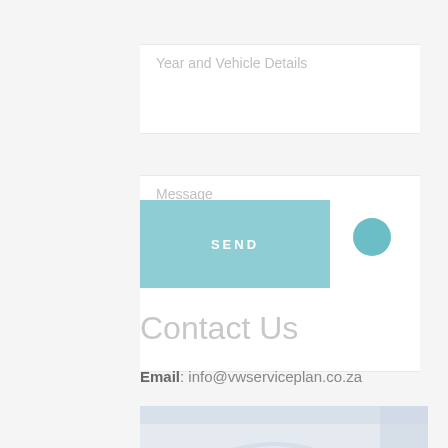Year and Vehicle Details
Message
SEND
Contact Us
Email: info@vwserviceplan.co.za
[Figure (photo): Photo of a white/silver car in a parking structure or garage, washed out lighting]